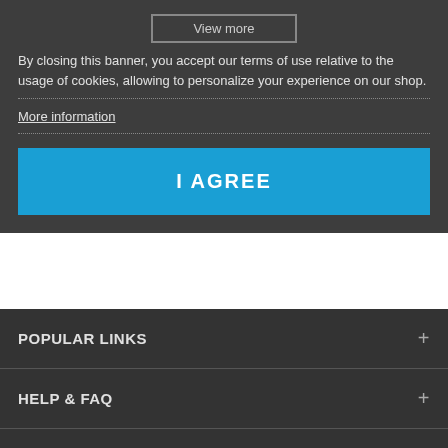View more
By closing this banner, you accept our terms of use relative to the usage of cookies, allowing to personalize your experience on our shop.
More information
I AGREE
POPULAR LINKS
HELP & FAQ
MY ACCOUNT